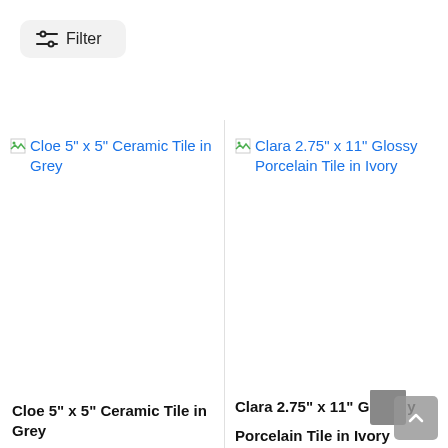[Figure (screenshot): Filter button with horizontal sliders icon and text 'Filter' on a light grey rounded rectangle background]
[Figure (screenshot): Product listing card for 'Cloe 5" x 5" Ceramic Tile in Grey' with broken image placeholder and blue link text]
[Figure (screenshot): Product listing card for 'Clara 2.75" x 11" Glossy Porcelain Tile in Ivory' with broken image placeholder and blue link text]
Cloe 5" x 5" Ceramic Tile in Grey
Clara 2.75" x 11" G...y Porcelain Tile in Ivory